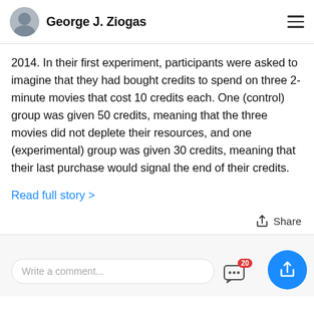George J. Ziogas
2014. In their first experiment, participants were asked to imagine that they had bought credits to spend on three 2-minute movies that cost 10 credits each. One (control) group was given 50 credits, meaning that the three movies did not deplete their resources, and one (experimental) group was given 30 credits, meaning that their last purchase would signal the end of their credits.
Read full story >
Share
Write a comment...
20